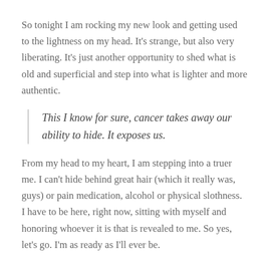So tonight I am rocking my new look and getting used to the lightness on my head. It's strange, but also very liberating. It's just another opportunity to shed what is old and superficial and step into what is lighter and more authentic.
This I know for sure, cancer takes away our ability to hide. It exposes us.
From my head to my heart, I am stepping into a truer me. I can't hide behind great hair (which it really was, guys) or pain medication, alcohol or physical slothness. I have to be here, right now, sitting with myself and honoring whoever it is that is revealed to me. So yes, let's go. I'm as ready as I'll ever be.